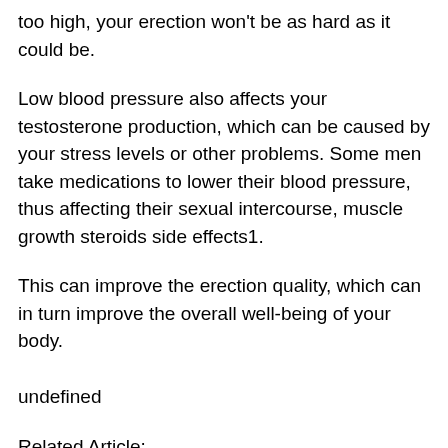too high, your erection won't be as hard as it could be.
Low blood pressure also affects your testosterone production, which can be caused by your stress levels or other problems. Some men take medications to lower their blood pressure, thus affecting their sexual intercourse, muscle growth steroids side effects1.
This can improve the erection quality, which can in turn improve the overall well-being of your body.
undefined
Related Article:
https://www.mindbodynutri.com/profile/krystaldefir122615/profile
https://gu.churcheternallife.com/profile/joanni...